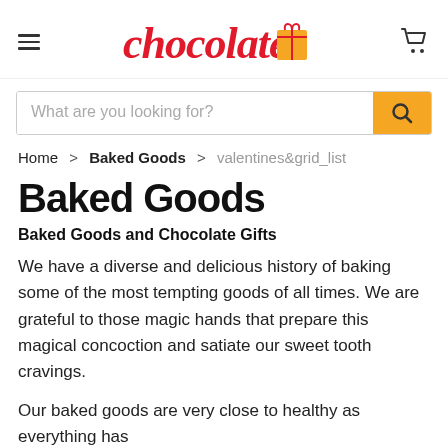chocolate [gift icon] [cart icon]
What are you looking for?
Home > Baked Goods > valentines&grid_list
Baked Goods
Baked Goods and Chocolate Gifts
We have a diverse and delicious history of baking some of the most tempting goods of all times. We are grateful to those magic hands that prepare this magical concoction and satiate our sweet tooth cravings.
Our baked goods are very close to healthy as everything has